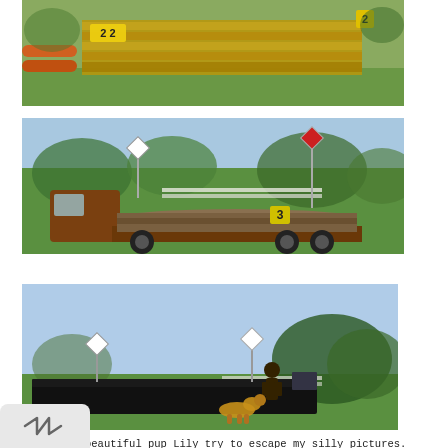[Figure (photo): Outdoor equestrian cross-country jump obstacle with wooden fence structure and numbered markers '2 2' visible, green grass field background.]
[Figure (photo): Outdoor equestrian cross-country jump obstacle shaped like a logging truck carrying large logs, with number '3' marker visible, green grass and trees in background.]
[Figure (photo): Outdoor equestrian cross-country dark/black platform jump obstacle, with a person and a golden dog (Lily) near it, green grass and trees in background.]
R and the beautiful pup Lily try to escape my silly pictures.